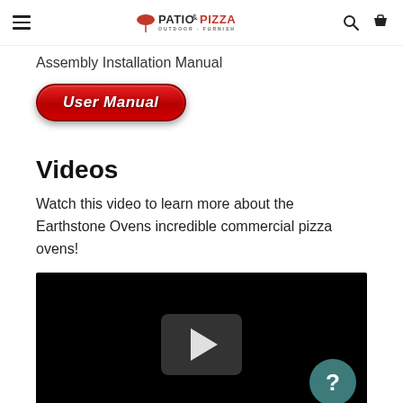Patio & Pizza Outdoor Furnishings — navigation header with hamburger menu, logo, search, and cart icons
Assembly Installation Manual
[Figure (other): Red glossy button labeled 'User Manual']
Videos
Watch this video to learn more about the Earthstone Ovens incredible commercial pizza ovens!
[Figure (screenshot): Black video thumbnail with a play button in the center and a teal help/question-mark circle button in the bottom right corner]